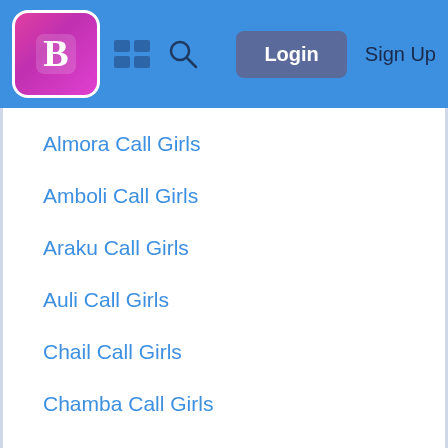Blogger navigation bar with Login and Sign Up
Almora Call Girls
Amboli Call Girls
Araku Call Girls
Auli Call Girls
Chail Call Girls
Chamba Call Girls
Champawat Call Girls